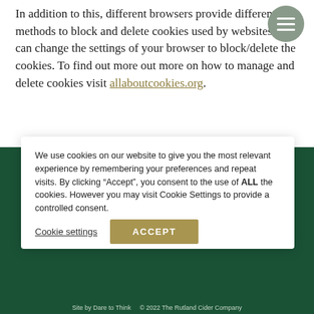In addition to this, different browsers provide different methods to block and delete cookies used by websites. You can change the settings of your browser to block/delete the cookies. To find out more out more on how to manage and delete cookies visit allaboutcookies.org.
We use cookies on our website to give you the most relevant experience by remembering your preferences and repeat visits. By clicking “Accept”, you consent to the use of ALL the cookies. However you may visit Cookie Settings to provide a controlled consent.
Cookie settings   ACCEPT
Site by Dare to Think   © 2022 The Rutland Cider Company